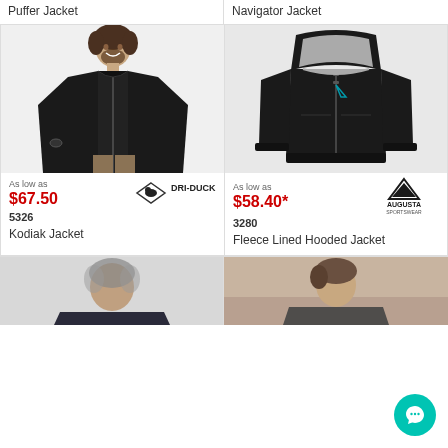Puffer Jacket
Navigator Jacket
[Figure (photo): Man wearing a black Kodiak jacket by Dri-Duck, full body shot with khaki pants]
As low as
$67.50
5326
Kodiak Jacket
[Figure (logo): Dri-Duck brand logo with diamond shape and duck silhouette]
[Figure (photo): Black hooded jacket with grey fleece lining, product shot on white background, Augusta Sportswear]
As low as
$58.40*
3280
Fleece Lined Hooded Jacket
[Figure (logo): Augusta Sportswear logo with triangle/mountain shape]
[Figure (photo): Man in jacket, partial view at bottom of page - left column]
[Figure (photo): Man in jacket, partial view at bottom of page - right column]